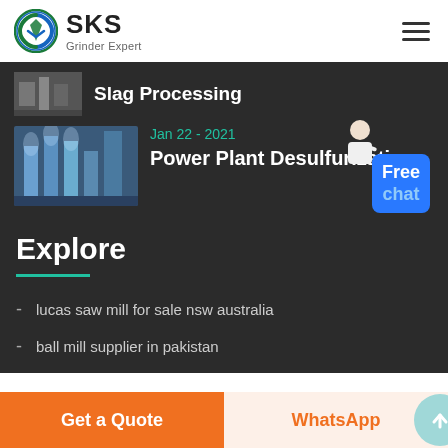[Figure (logo): SKS Grinder Expert logo with circular icon and brand name]
Slag Processing
Jan 22 - 2021
Power Plant Desulfurization
Explore
lucas saw mill for sale nsw australia
ball mill supplier in pakistan
Get a Quote
WhatsApp